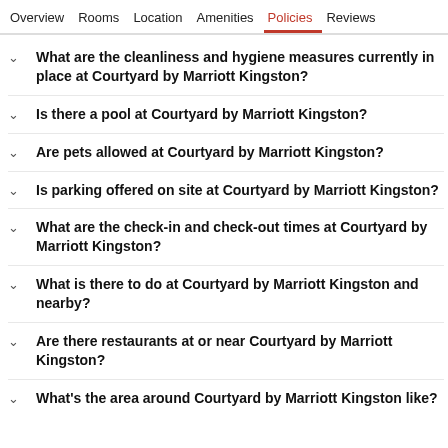Overview   Rooms   Location   Amenities   Policies   Reviews
What are the cleanliness and hygiene measures currently in place at Courtyard by Marriott Kingston?
Is there a pool at Courtyard by Marriott Kingston?
Are pets allowed at Courtyard by Marriott Kingston?
Is parking offered on site at Courtyard by Marriott Kingston?
What are the check-in and check-out times at Courtyard by Marriott Kingston?
What is there to do at Courtyard by Marriott Kingston and nearby?
Are there restaurants at or near Courtyard by Marriott Kingston?
What's the area around Courtyard by Marriott Kingston like?